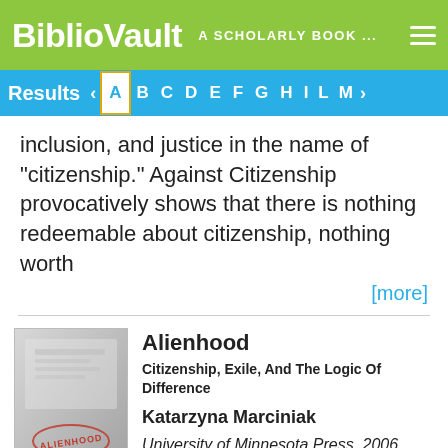BiblioVault  A SCHOLARLY BOOK ...
Results  < A B C D E F G H I L M >
inclusion, and justice in the name of "citizenship." Against Citizenship provocatively shows that there is nothing redeemable about citizenship, nothing worth
[more]
[Figure (photo): Book cover for Alienhood showing a passport stamp and the word ALIENHOOD in red stamp lettering]
Alienhood
Citizenship, Exile, And The Logic Of Difference
Katarzyna Marciniak
University of Minnesota Press, 2006
“Alien” has a double meaning in the United States, suggesting both